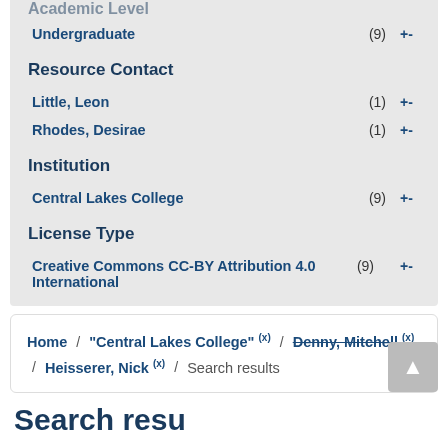Undergraduate (9) +-
Resource Contact
Little, Leon (1) +-
Rhodes, Desirae (1) +-
Institution
Central Lakes College (9) +-
License Type
Creative Commons CC-BY Attribution 4.0 International (9) +-
Home / "Central Lakes College" (x) / Denny, Mitchell (x) / Heisserer, Nick (x) / Search results
Search results